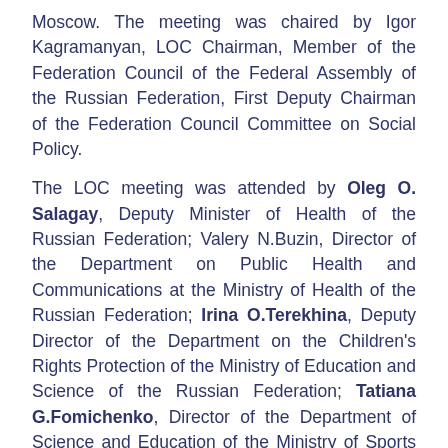Moscow. The meeting was chaired by Igor Kagramanyan, LOC Chairman, Member of the Federation Council of the Federal Assembly of the Russian Federation, First Deputy Chairman of the Federation Council Committee on Social Policy.
The LOC meeting was attended by Oleg O. Salagay, Deputy Minister of Health of the Russian Federation; Valery N.Buzin, Director of the Department on Public Health and Communications at the Ministry of Health of the Russian Federation; Irina O.Terekhina, Deputy Director of the Department on the Children's Rights Protection of the Ministry of Education and Science of the Russian Federation; Tatiana G.Fomichenko, Director of the Department of Science and Education of the Ministry of Sports of the Russian Federation; Elena V.Morozova, Head of the Center for Social, Professional, Psychological Diagnostics and Rehabilitation at the Federal Bureau of Medical and Social Expertise of the Ministry of Labor and Social